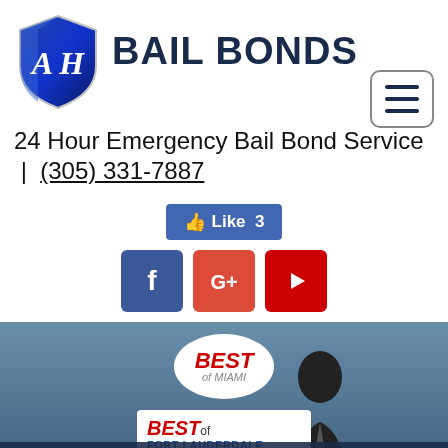[Figure (logo): AH Bail Bonds shield logo with blue gradient and cursive AH letters]
BAIL BONDS
[Figure (other): Hamburger menu button (three horizontal lines in rounded rectangle)]
24 Hour Emergency Bail Bond Service  |  (305) 331-7887
[Figure (other): Facebook Like button showing Like 3]
[Figure (other): Social media icons: Facebook (blue), Google+ (orange-red), YouTube (red)]
[Figure (other): Banner with Best of Miami badge, Best of Fort Lauderdale badge, and person in suit silhouette with ANGEL HANDS BAIL BONDS text bar at bottom]